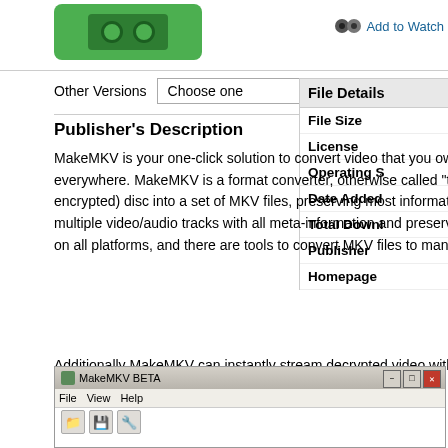[Figure (logo): MakeMKV green logo box with cassette icon]
Add to Watch
Other Versions  Choose one
File Details
File Size
License
Operating S
Date Added
Total Downl
Publisher
Homepage
Publisher's Description
MakeMKV is your one-click solution to convert video that you own into free and patents-unencumbered format that can be played everywhere. MakeMKV is a format converter, otherwise called "transcoder". It converts the video clips from proprietary (and usually encrypted) disc into a set of MKV files, preserving most information but not changing it in any way. The MKV format can store multiple video/audio tracks with all meta-information and preserve chapters. There are many players that can play MKV files nearly on all platforms, and there are tools to convert MKV files to many fo discs.
Additionally MakeMKV can instantly stream decrypted video without interm players, so you may watch Blu-ray and DVD discs with your favorite player favorite device.
[Figure (screenshot): MakeMKV BETA application window with menu bar showing File, View, Help and toolbar with folder, disk, and settings icons]